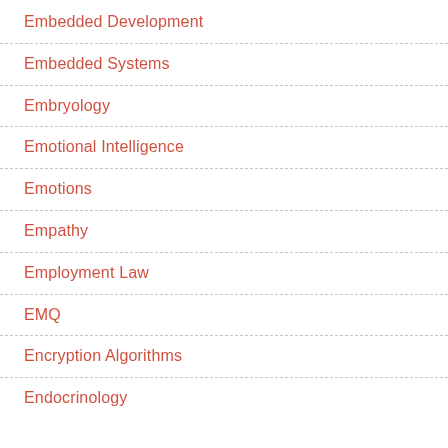Embedded Development
Embedded Systems
Embryology
Emotional Intelligence
Emotions
Empathy
Employment Law
EMQ
Encryption Algorithms
Endocrinology